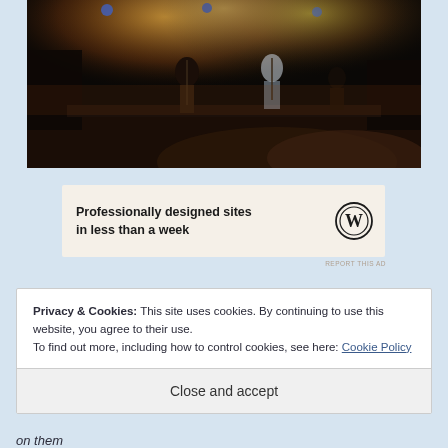[Figure (photo): Concert photo showing performers on a dark stage with orange/yellow stage lighting and spotlights. Two or three musicians visible on stage with instruments.]
[Figure (infographic): WordPress advertisement banner with cream background. Text reads 'Professionally designed sites in less than a week' with the WordPress circular logo on the right.]
REPORT THIS AD
Privacy & Cookies: This site uses cookies. By continuing to use this website, you agree to their use.
To find out more, including how to control cookies, see here: Cookie Policy
Close and accept
on them